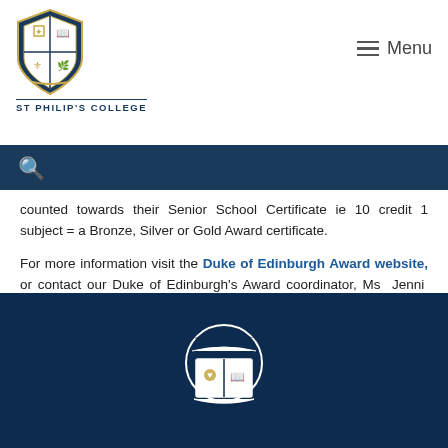ST PHILIP'S COLLEGE — Menu
counted towards their Senior School Certificate ie 10 credit 1 subject = a Bronze, Silver or Gold Award certificate.
For more information visit the Duke of Edinburgh Award website, or contact our Duke of Edinburgh's Award coordinator, Ms Jenni Frank on (08) 8950 4580 or via email, jenni.frank@stphilips.nt.edu.au
St Philip's College footer logo